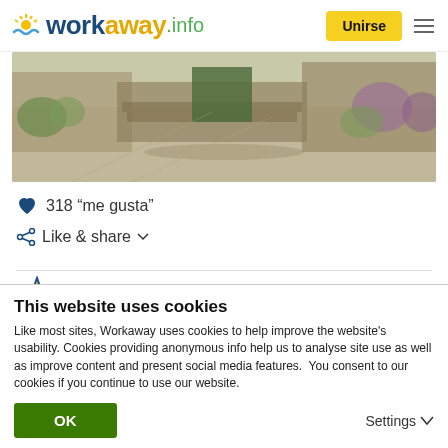workaway.info — Unirse
[Figure (photo): Garden photo showing stone steps, gravel path, and flowering plants]
318 "me gusta"
Like & share
Evaluación del anfitrión
This website uses cookies
Like most sites, Workaway uses cookies to help improve the website's usability. Cookies providing anonymous info help us to analyse site use as well as improve content and present social media features.  You consent to our cookies if you continue to use our website.
OK
Settings